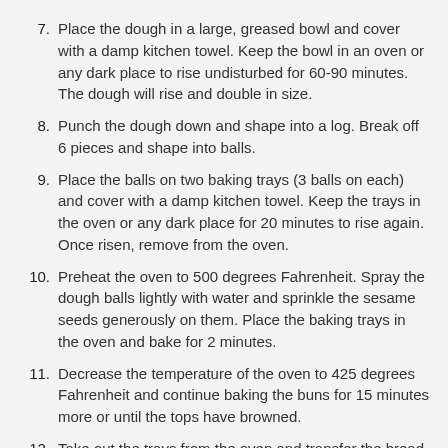7. Place the dough in a large, greased bowl and cover with a damp kitchen towel. Keep the bowl in an oven or any dark place to rise undisturbed for 60-90 minutes. The dough will rise and double in size.
8. Punch the dough down and shape into a log. Break off 6 pieces and shape into balls.
9. Place the balls on two baking trays (3 balls on each) and cover with a damp kitchen towel. Keep the trays in the oven or any dark place for 20 minutes to rise again. Once risen, remove from the oven.
10. Preheat the oven to 500 degrees Fahrenheit. Spray the dough balls lightly with water and sprinkle the sesame seeds generously on them. Place the baking trays in the oven and bake for 2 minutes.
11. Decrease the temperature of the oven to 425 degrees Fahrenheit and continue baking the buns for 15 minutes more or until the tops have browned.
12. Take out the trays from the oven and transfer the bread to a wire rack to cool down.